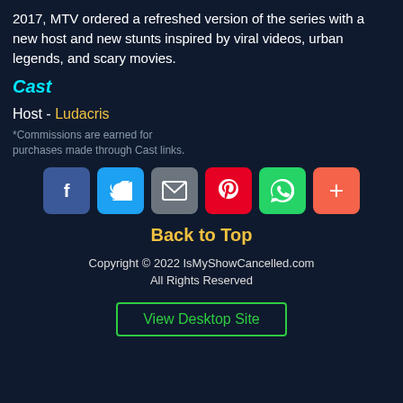2017, MTV ordered a refreshed version of the series with a new host and new stunts inspired by viral videos, urban legends, and scary movies.
Cast
Host - Ludacris
*Commissions are earned for purchases made through Cast links.
[Figure (infographic): Row of social sharing buttons: Facebook (blue), Twitter (light blue), Email (gray), Pinterest (red), WhatsApp (green), More/Plus (orange-red)]
Back to Top
Copyright © 2022 IsMyShowCancelled.com
All Rights Reserved
View Desktop Site